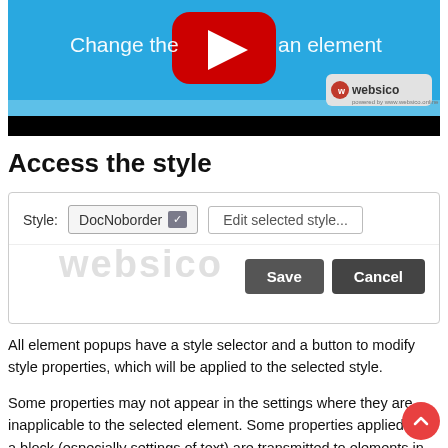[Figure (screenshot): YouTube video thumbnail showing a blue background with the text 'Change the ... an element', a YouTube play button in the center, a websico logo badge at bottom right, and a black bar at the bottom.]
Access the style
[Figure (screenshot): UI dialog showing a Style selector dropdown set to 'DocNoborder', an 'Edit selected style...' button, a websico watermark, and Save/Cancel buttons.]
All element popups have a style selector and a button to modify style properties, which will be applied to the selected style.
Some properties may not appear in the settings where they are inapplicable to the selected element. Some properties applied to a block (especially settings of text) are transmitted to elements in the block.